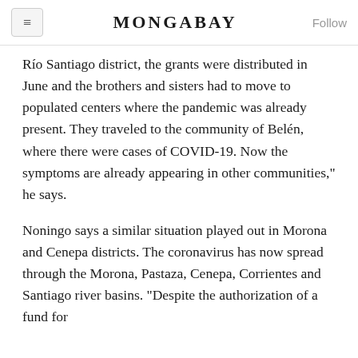MONGABAY
Río Santiago district, the grants were distributed in June and the brothers and sisters had to move to populated centers where the pandemic was already present. They traveled to the community of Belén, where there were cases of COVID-19. Now the symptoms are already appearing in other communities," he says.
Noningo says a similar situation played out in Morona and Cenepa districts. The coronavirus has now spread through the Morona, Pastaza, Cenepa, Corrientes and Santiago river basins. "Despite the authorization of a fund for